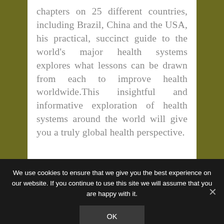chapters on 25 different countries, including Brazil, China and the USA, his practical, succinct guide to the world's major health systems explores what lessons can be drawn from each to improve health worldwide.This insightful and informative exploration of health systems around the world will give you a truly global health perspective.
We use cookies to ensure that we give you the best experience on our website. If you continue to use this site we will assume that you are happy with it.
OK